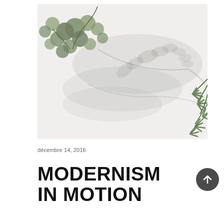[Figure (photo): Close-up photo of eucalyptus branches and green foliage against a white background with soft shadows cast on the wall]
décembre 14, 2016
MODERNISM IN MOTION